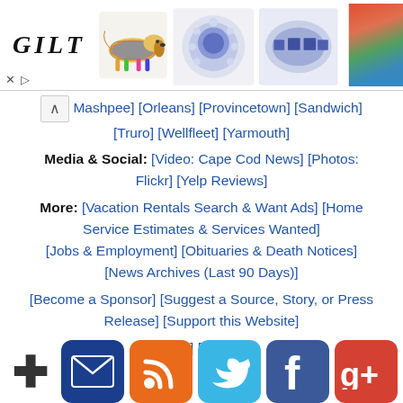[Figure (screenshot): GILT advertisement banner with logo text, colorful dachshund figurine, two sapphire/diamond rings, and partial resort photo]
[Mashpee] [Orleans] [Provincetown] [Sandwich] [Truro] [Wellfleet] [Yarmouth]
Media & Social: [Video: Cape Cod News] [Photos: Flickr] [Yelp Reviews]
More: [Vacation Rentals Search & Want Ads] [Home Service Estimates & Services Wanted] [Jobs & Employment] [Obituaries & Death Notices] [News Archives (Last 90 Days)]
[Become a Sponsor] [Suggest a Source, Story, or Press Release] [Support this Website]
[About] [Contact]
[Figure (illustration): Social media icon bar: cross/plus icon, email/envelope (dark blue), RSS feed (orange), Twitter bird (light blue), Facebook f (dark blue), Google+ g+ (red)]